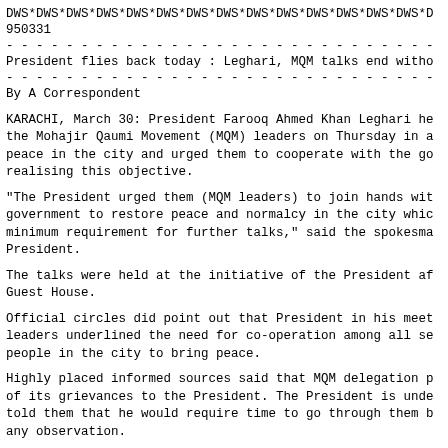DWS*DWS*DWS*DWS*DWS*DWS*DWS*DWS*DWS*DWS*DWS*DWS*DWS*DWS*D
950331
President flies back today : Leghari, MQM talks end witho
By A Correspondent
KARACHI, March 30: President Farooq Ahmed Khan Leghari he the Mohajir Qaumi Movement (MQM) leaders on Thursday in a peace in the city and urged them to cooperate with the go realising this objective.
"The President urged them (MQM leaders) to join hands wit government to restore peace and normalcy in the city whic minimum requirement for further talks," said the spokesma President.
The talks were held at the initiative of the President af Guest House.
Official circles did point out that President in his meet leaders underlined the need for co-operation among all se people in the city to bring peace.
Highly placed informed sources said that MQM delegation p of its grievances to the President. The President is unde told them that he would require time to go through them b any observation.
Till now time MQM Rabita Committee still deliber